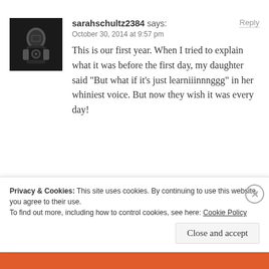[Figure (photo): Black and white selfie of a person holding a camera in a mirror]
sarahschultz2384 says:
Reply
October 30, 2014 at 9:57 pm
This is our first year. When I tried to explain what it was before the first day, my daughter said “But what if it’s just learniiinnnggg” in her whiniest voice. But now they wish it was every day!
Like
Privacy & Cookies: This site uses cookies. By continuing to use this website, you agree to their use.
To find out more, including how to control cookies, see here: Cookie Policy
Close and accept